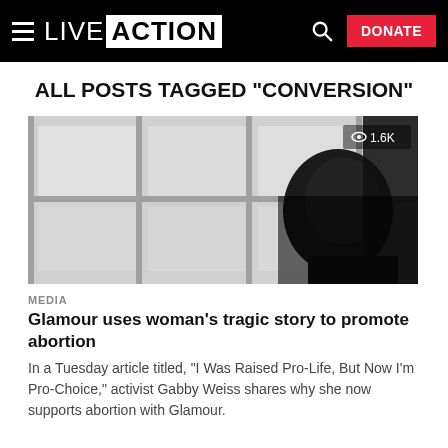LIVE ACTION — DONATE
ALL POSTS TAGGED "CONVERSION"
[Figure (photo): Silhouette of a woman looking out a window, black and white photo. View count overlay: 1.6K]
MEDIA
Glamour uses woman's tragic story to promote abortion
In a Tuesday article titled, "I Was Raised Pro-Life, But Now I'm Pro-Choice," activist Gabby Weiss shares why she now supports abortion with Glamour.